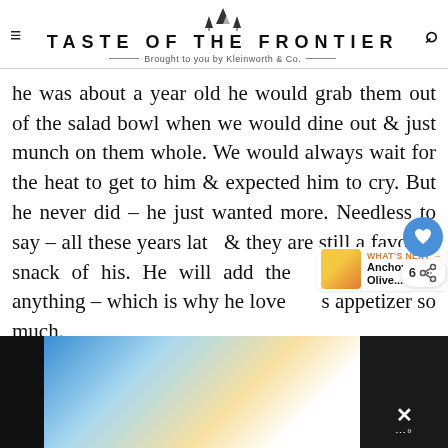TASTE OF THE FRONTIER — Brought to you by Kleinworth & Co.
he was about a year old he would grab them out of the salad bowl when we would dine out & just munch on them whole. We would always wait for the heat to get to him & expected him to cry. But he never did – he just wanted more. Needless to say – all these years later & they are still a favorite snack of his. He will add them to just about anything – which is why he loves this appetizer so much.
[Figure (screenshot): Bottom portion of a webpage showing a food-related image strip with a dark panel on the right containing a close (X) button]